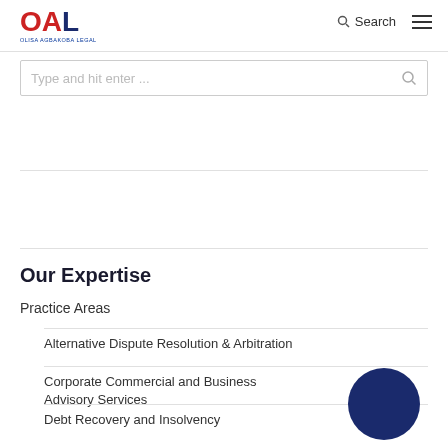OAL - Olisa Agbakoba Legal
Type and hit enter ...
Our Expertise
Practice Areas
Alternative Dispute Resolution & Arbitration
Corporate Commercial and Business Advisory Services
Debt Recovery and Insolvency